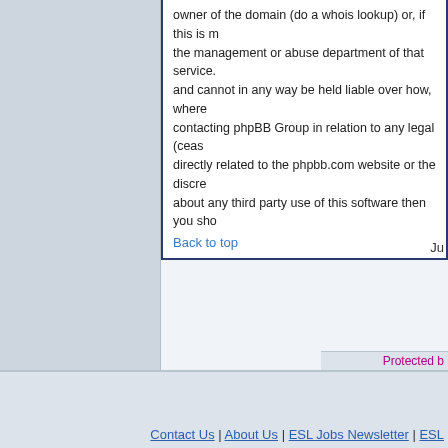owner of the domain (do a whois lookup) or, if this is m the management or abuse department of that service. and cannot in any way be held liable over how, where contacting phpBB Group in relation to any legal (ceas directly related to the phpbb.com website or the discre about any third party use of this software then you sho
Back to top
Ju
Protected b
Contact Us | About Us | ESL Jobs Newsletter | ESL